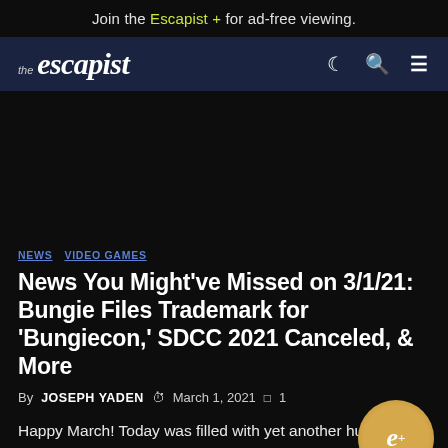Join the Escapist + for ad-free viewing.
[Figure (logo): The Escapist logo with navigation icons (moon, search, menu)]
[Figure (other): Advertisement area (dark/empty)]
NEWS  VIDEO GAMES
News You Might've Missed on 3/1/21: Bungie Files Trademark for 'Bungiecon,' SDCC 2021 Canceled, & More
By JOSEPH YADEN  March 1, 2021  1
Happy March! Today was filled with yet another huge batch of video game news. We received word that